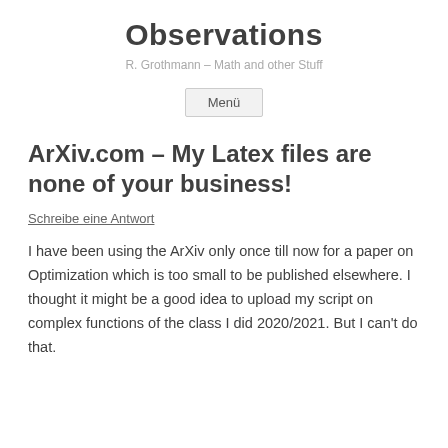Observations
R. Grothmann – Math and other Stuff
Menü
ArXiv.com – My Latex files are none of your business!
Schreibe eine Antwort
I have been using the ArXiv only once till now for a paper on Optimization which is too small to be published elsewhere. I thought it might be a good idea to upload my script on complex functions of the class I did 2020/2021. But I can't do that.